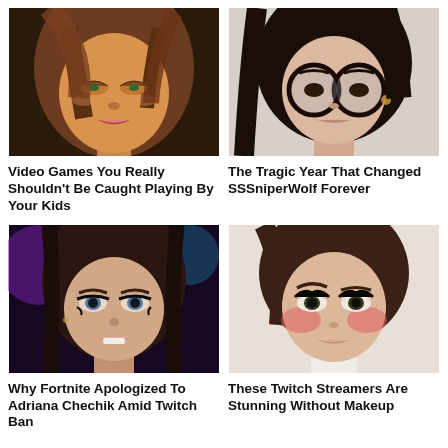[Figure (illustration): 3D rendered face of an anime-style female character with brown hair and green eyes, close-up portrait]
[Figure (photo): Photo of a young woman with long dark hair wearing round black glasses, close-up selfie]
Video Games You Really Shouldn't Be Caught Playing By Your Kids
The Tragic Year That Changed SSSnipherWolf Forever
[Figure (photo): Photo of a young woman with brown hair and dramatic eye makeup, close-up portrait]
[Figure (photo): Photo of a young woman with brown hair and heavy blush makeup with surprised expression, close-up portrait]
Why Fortnite Apologized To Adriana Chechik Amid Twitch Ban
These Twitch Streamers Are Stunning Without Makeup